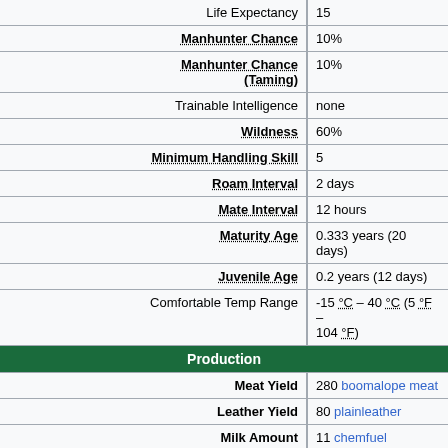| Property | Value |
| --- | --- |
| Life Expectancy | 15 |
| Manhunter Chance | 10% |
| Manhunter Chance (Taming) | 10% |
| Trainable Intelligence | none |
| Wildness | 60% |
| Minimum Handling Skill | 5 |
| Roam Interval | 2 days |
| Mate Interval | 12 hours |
| Maturity Age | 0.333 years (20 days) |
| Juvenile Age | 0.2 years (12 days) |
| Comfortable Temp Range | -15 °C – 40 °C (5 °F – 104 °F) |
| SECTION: Production |  |
| Meat Yield | 280 boomalope meat |
| Leather Yield | 80 plainleather |
| Milk Amount | 11 chemfuel |
| Milking Interval | 1 days |
| Gestation Period | 6.66 days |